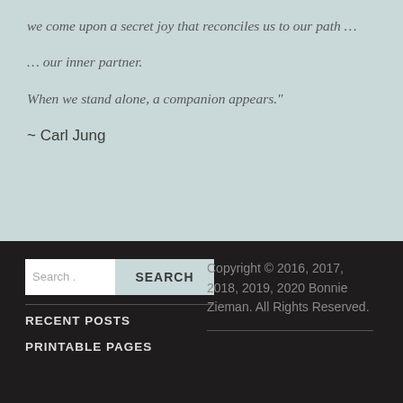we come upon a secret joy that reconciles us to our path …
… our inner partner.
When we stand alone, a companion appears."
~ Carl Jung
Search .
SEARCH
RECENT POSTS
PRINTABLE PAGES
Copyright © 2016, 2017, 2018, 2019, 2020 Bonnie Zieman. All Rights Reserved.